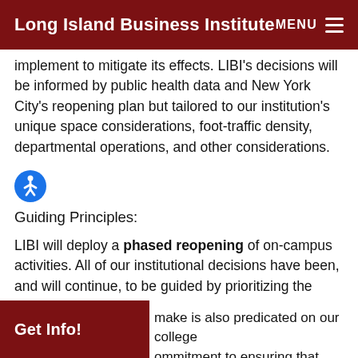Long Island Business Institute   MENU
implement to mitigate its effects. LIBI's decisions will be informed by public health data and New York City's reopening plan but tailored to our institution's unique space considerations, foot-traffic density, departmental operations, and other considerations.
[Figure (illustration): Blue circle accessibility icon with a person figure (wheelchair accessibility symbol)]
Guiding Principles:
LIBI will deploy a phased reopening of on-campus activities. All of our institutional decisions have been, and will continue, to be guided by prioritizing the health and safety of our students, faculty, and staff.
make is also predicated on our college ommitment to ensuring that teaching